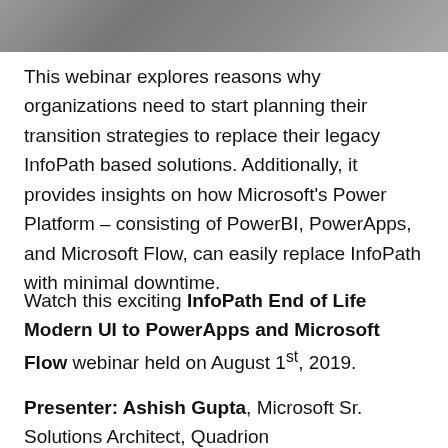[Figure (photo): A partial photo/banner image at the top of the page, cropped, showing what appears to be a person or presentation scene.]
This webinar explores reasons why organizations need to start planning their transition strategies to replace their legacy InfoPath based solutions. Additionally, it provides insights on how Microsoft's Power Platform – consisting of PowerBI, PowerApps, and Microsoft Flow, can easily replace InfoPath with minimal downtime.
Watch this exciting InfoPath End of Life Modern UI to PowerApps and Microsoft Flow webinar held on August 1st, 2019.
Presenter: Ashish Gupta, Microsoft Sr. Solutions Architect, Quadrion